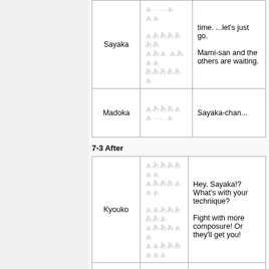| Speaker | Japanese | English |
| --- | --- | --- |
| Sayaka | ぁ……ぁぁ
ぁああああああ
ぁあぁ ぁあぁぁ
あああああぁ | time. ...let's just go.
Mami-san and the others are waiting. |
| Madoka | ぁあああぁ
ぁ……ぁ | Sayaka-chan... |
7-3 After
| Speaker | Japanese | English |
| --- | --- | --- |
| Kyouko | あああああぁぁ
あああああぁ
ああああああぁぁ
あああああぁ ぁ
あああああぁぁぁ | Hey, Sayaka!? What's with your technique?
Fight with more composure! Or they'll get you! |
|  | あああああぁぁ | She's right! You mustn't fight like |